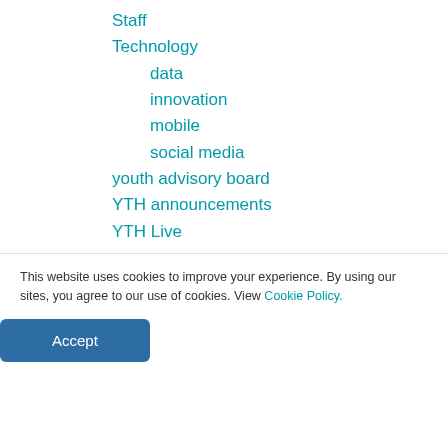Staff
Technology
data
innovation
mobile
social media
youth advisory board
YTH announcements
YTH Live
[Figure (logo): YTH logo — circular emblem with pink/navy arc and letters, followed by YTH acronym text in teal]
This website uses cookies to improve your experience. By using our sites, you agree to our use of cookies. View Cookie Policy.
Accept